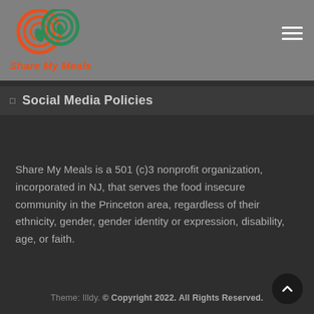[Figure (logo): Share My Meals logo with two interlocking circles (orange and teal/green) with leaf shapes, and orange italic text 'Share My Meals' below]
Social Media Policies
Share My Meals is a 501 (c)3 nonprofit organization, incorporated in NJ, that serves the food insecure community in the Princeton area, regardless of their ethnicity, gender, gender identity or expression, disability, age, or faith.
Theme: Illdy. © Copyright 2022. All Rights Reserved.